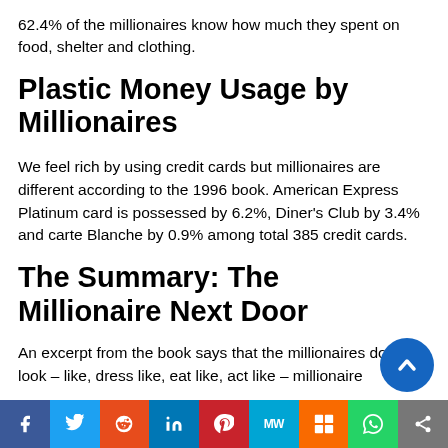62.4% of the millionaires know how much they spent on food, shelter and clothing.
Plastic Money Usage by Millionaires
We feel rich by using credit cards but millionaires are different according to the 1996 book. American Express Platinum card is possessed by 6.2%, Diner’s Club by 3.4% and carte Blanche by 0.9% among total 385 credit cards.
The Summary: The Millionaire Next Door
An excerpt from the book says that the millionaires don’t look – like, dress like, eat like, act like – millionaires.
f  Twitter  Reddit  in  Pinterest  MW  Mix  WhatsApp  Share